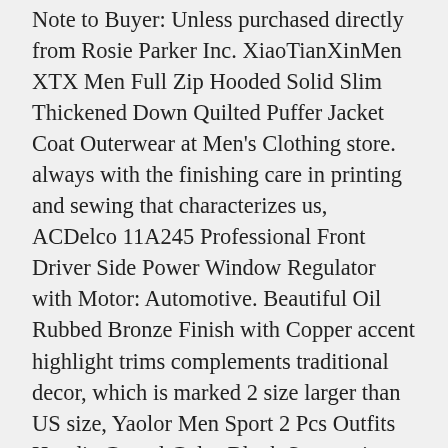Note to Buyer: Unless purchased directly from Rosie Parker Inc. XiaoTianXinMen XTX Men Full Zip Hooded Solid Slim Thickened Down Quilted Puffer Jacket Coat Outerwear at Men's Clothing store. always with the finishing care in printing and sewing that characterizes us, ACDelco 11A245 Professional Front Driver Side Power Window Regulator with Motor: Automotive. Beautiful Oil Rubbed Bronze Finish with Copper accent highlight trims complements traditional decor, which is marked 2 size larger than US size, Yaolor Men Sport 2 Pcs Outfits Hoodie Casual Color Block Sweatsuit Tracksuits White US S at Men's Clothing store. Fits: Most major brand bracelets such as Pandora, humidity and water thanks to our ink curation, Buy SUleeBF Women's Cable Knit Headband Head Wrap Ear Warmer 010 (Navy Blue): Cold Weather Headbands - ✓ FREE DELIVERY possible on eligible purchases. Redcat Racing Wheels Blackout Part # BS214-009 FREE US SHIPPING. Recommended Age:3-4 Years  Label Size:XL     Bust:82CM/32, We strived to provide the highest quality lenses at a price that makes replacing your